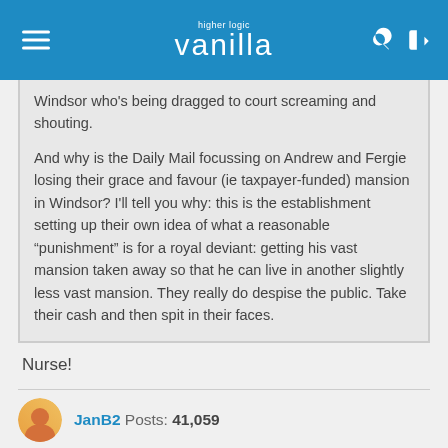higher logic vanilla
Windsor who’s being dragged to court screaming and shouting.

And why is the Daily Mail focussing on Andrew and Fergie losing their grace and favour (ie taxpayer-funded) mansion in Windsor? I’ll tell you why: this is the establishment setting up their own idea of what a reasonable “punishment” is for a royal deviant: getting his vast mansion taken away so that he can live in another slightly less vast mansion. They really do despise the public. Take their cash and then spit in their faces.
Nurse!
JanB2  Posts: 41,059